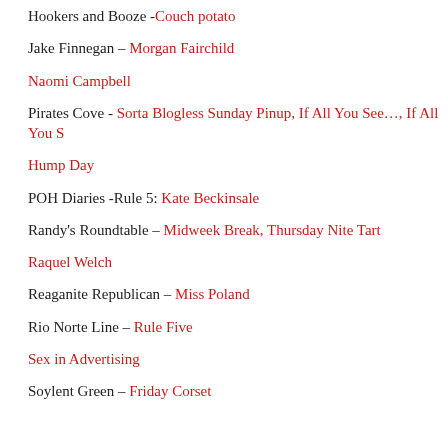Hookers and Booze - Couch potato
Jake Finnegan – Morgan Fairchild
Naomi Campbell
Pirates Cove - Sorta Blogless Sunday Pinup, If All You See…, If All You S
Hump Day
POH Diaries -Rule 5: Kate Beckinsale
Randy's Roundtable – Midweek Break, Thursday Nite Tart
Raquel Welch
Reaganite Republican – Miss Poland
Rio Norte Line – Rule Five
Sex in Advertising
Soylent Green – Friday Corset